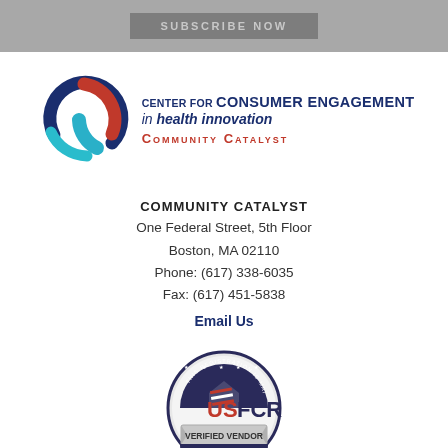[Figure (other): Gray top bar with a Subscribe Now button]
[Figure (logo): Center for Consumer Engagement in Health Innovation - Community Catalyst logo with circular arc icon in red, dark blue, and teal]
COMMUNITY CATALYST
One Federal Street, 5th Floor
Boston, MA 02110
Phone: (617) 338-6035
Fax: (617) 451-5838
Email Us
[Figure (logo): USFCR Verified Vendor 2021 badge/seal]